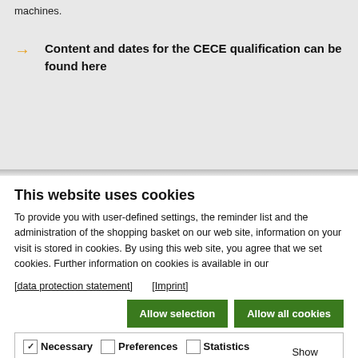machines.
Content and dates for the CECE qualification can be found here
This website uses cookies
To provide you with user-defined settings, the reminder list and the administration of the shopping basket on our web site, information on your visit is stored in cookies. By using this web site, you agree that we set cookies. Further information on cookies is available in our
[data protection statement]   [Imprint]
Allow selection   Allow all cookies
Necessary   Preferences   Statistics   Marketing   Show details